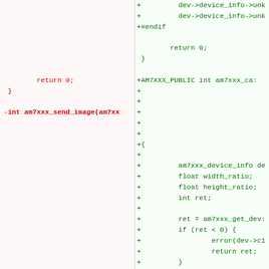[Figure (screenshot): Code diff view showing two columns. Left column (red/removed) shows C code with return 0; and closing brace, then -int am7xxx_send_image function signature. Right column (green/added) shows new lines with dev->device_info->un, +#endif, return 0; closing brace, +AM7XXX_PUBLIC int am7xxx_ca function, plus new function body with am7xxx_device_info, float width_ratio, float height_ratio, int ret, ret = am7xxx_get_dev, if (ret < 0) block with error and return ret, closing brace, comment block checking if upscale needed, and if (!upscale && original_width <=]